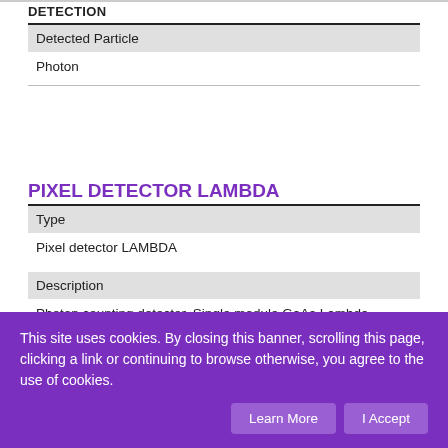DETECTION
| Detected Particle |
| --- |
| Photon |
PIXEL DETECTOR LAMBDA
| Type |
| --- |
| Pixel detector LAMBDA |
| Description |
| --- |
| Photon counting detector. Single module GaAs Lambda detector from X-Spectrum GmbH. http://www.x-spectrum.de/products.htm |
This site uses cookies. By closing this banner, scrolling this page, clicking a link or continuing to browse otherwise, you agree to the use of cookies.